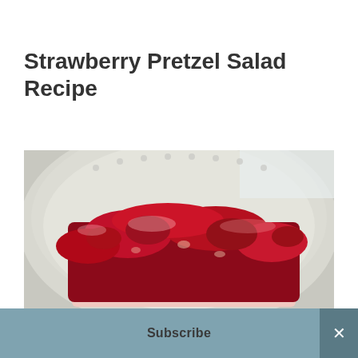Strawberry Pretzel Salad Recipe
[Figure (photo): A slice of strawberry pretzel salad on a white plate — layers of pretzel crust, cream cheese filling, and glossy red strawberry jello topping, photographed close-up on a white embossed plate]
Subscribe